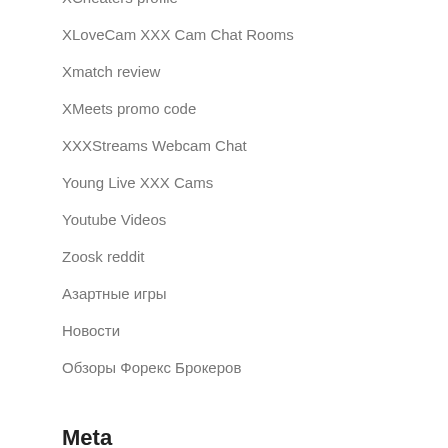XCheaters profile
XLoveCam XXX Cam Chat Rooms
Xmatch review
XMeets promo code
XXXStreams Webcam Chat
Young Live XXX Cams
Youtube Videos
Zoosk reddit
Азартные игры
Новости
Обзоры Форекс Брокеров
Meta
Acceder
Feed de entradas
Feed de comentarios
WordPress.org